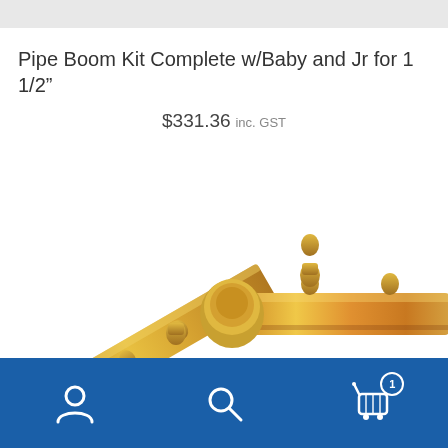[Figure (photo): Top partial image bar showing product image cropped at top]
Pipe Boom Kit Complete w/Baby and Jr for 1 1/2"
$331.36 inc. GST
Add to cart
[Figure (photo): Photo of a pipe boom kit showing a gold/yellow zinc-plated metal pipe fitting with multiple ports/outlets, angled connector piece for sprayer equipment]
Navigation bar with user account icon, search icon, and shopping cart icon with badge showing 1 item